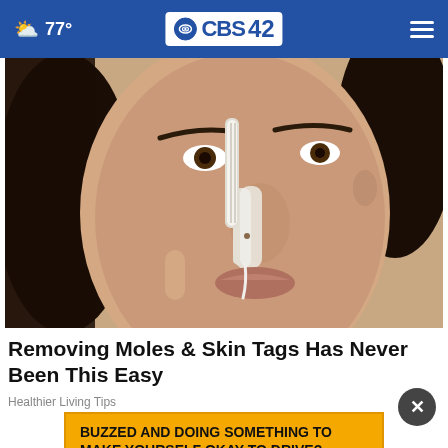☁ 77° | CBS 42
[Figure (photo): Woman applying white cream or strip to her nose with a tool, close-up beauty/skincare photo]
Removing Moles & Skin Tags Has Never Been This Easy
Healthier Living Tips
BUZZED AND DOING SOMETHING TO MAKE YOURSELF OKAY TO DRIVE?